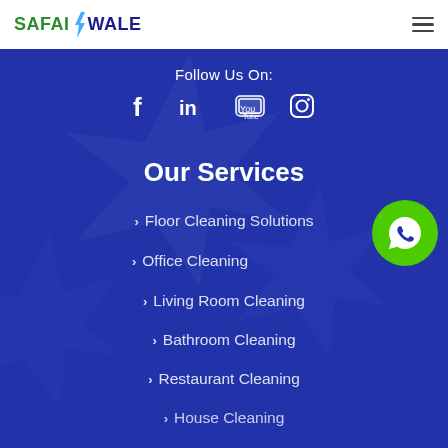[Figure (logo): SafaiWale logo — green text SAFAI, blue lightning bolt, dark blue WALE]
[Figure (infographic): Hamburger menu icon (three horizontal lines) in top right corner]
Follow Us On:
[Figure (infographic): Social media icons: Facebook (f), LinkedIn (in), YouTube, Instagram]
Our Services
Floor Cleaning Solutions
Office Cleaning
Living Room Cleaning
Bathroom Cleaning
Restaurant Cleaning
House Cleaning
[Figure (infographic): Green circular WhatsApp button with white WhatsApp icon]